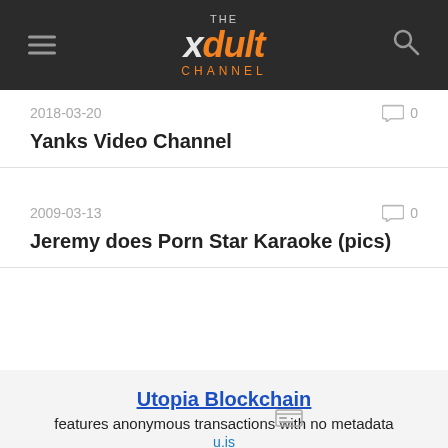THE xdult CHANNEL
2018-03-20
0
Yanks Video Channel
2009-03-13
0
Jeremy does Porn Star Karaoke (pics)
Utopia Blockchain
features anonymous transactions with no metadata
u.is
Trader AI Bot , Guarantied Success Trades
Get Free $1 and collect up to %70 Daily profit
ghooda.com